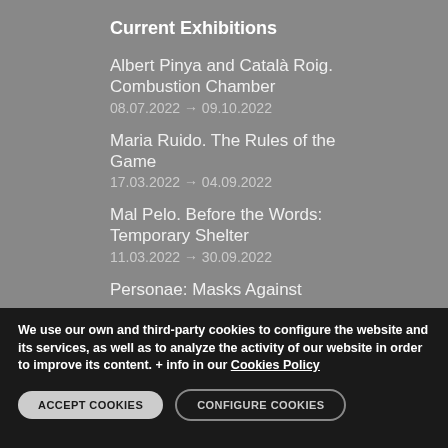Current Exhibitions
Albert Pinya and Català Roig. Combustion Chamber
08.07.2022 → 09.10.2022
Maria Ruido. The Rules of the Game
17.03.2022 → 04.09.2022
Mal Pelo. Before the Words: Temporary Shelter
11.03.2022 → 30.09.2022
Personae: Masks Against
We use our own and third-party cookies to configure the website and its services, as well as to analyze the activity of our website in order to improve its content. + info in our Cookies Policy
ACCEPT COOKIES
CONFIGURE COOKIES